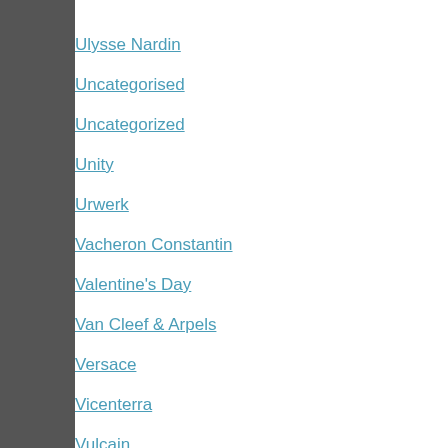Ulysse Nardin
Uncategorised
Uncategorized
Unity
Urwerk
Vacheron Constantin
Valentine's Day
Van Cleef & Arpels
Versace
Vicenterra
Vulcain
Wancher
Watch industry
Watch shows
Watch with second time zone
Watch with unusual function